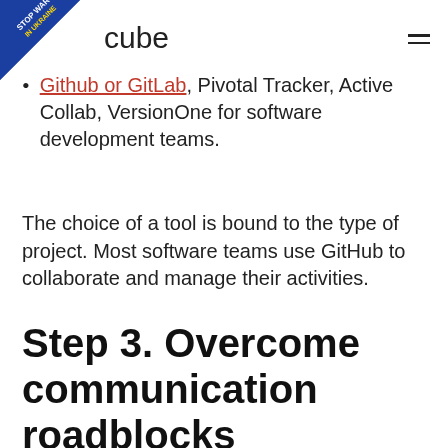cube
GitHub or GitLab, Pivotal Tracker, Active Collab, VersionOne for software development teams.
The choice of a tool is bound to the type of project. Most software teams use GitHub to collaborate and manage their activities.
Step 3. Overcome communication roadblocks